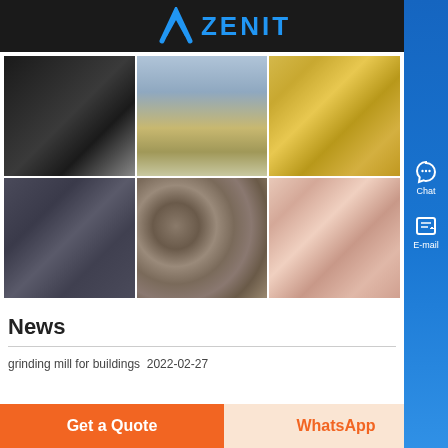[Figure (logo): Zenit company logo with blue arch/chevron icon and blue ZENIT text on dark background]
[Figure (photo): 6-image grid showing: 1) dark shiny mineral/graphite crystals, 2) industrial conveyor/crushing machine with sand pile, 3) yellow sand/gravel granules, 4) dark grey sand texture, 5) mixed pebbles/river stones, 6) pink/beige rough rock chunks]
News
grinding mill for buildings  2022-02-27
[Figure (other): Right side panel with blue gradient background showing Chat (headphone icon) and E-mail (document icon) contact buttons]
Get a Quote
WhatsApp